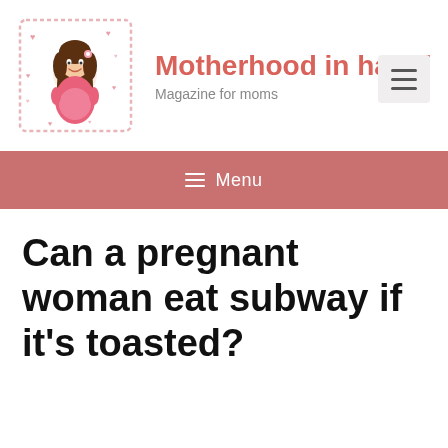[Figure (illustration): Cartoon illustration of a pregnant woman with long brown hair, smiling, wearing a pink dress, surrounded by small hearts, inside a decorative border frame. Used as a website logo.]
Motherhood in happi…
Magazine for moms
≡ Menu
Can a pregnant woman eat subway if it's toasted?